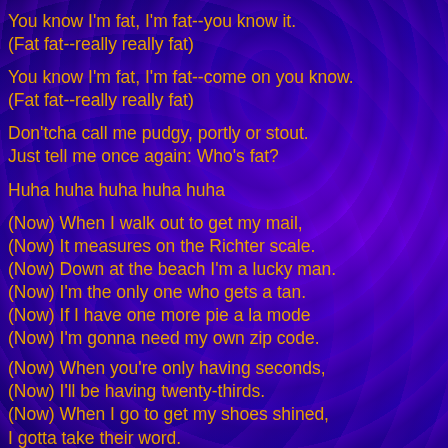You know I'm fat, I'm fat--you know it.
(Fat fat--really really fat)
You know I'm fat, I'm fat--come on you know.
(Fat fat--really really fat)
Don'tcha call me pudgy, portly or stout.
Just tell me once again: Who's fat?
Huha huha huha huha huha
(Now) When I walk out to get my mail,
(Now) It measures on the Richter scale.
(Now) Down at the beach I'm a lucky man.
(Now) I'm the only one who gets a tan.
(Now) If I have one more pie a la mode
(Now) I'm gonna need my own zip code.
(Now) When you're only having seconds,
(Now) I'll be having twenty-thirds.
(Now) When I go to get my shoes shined,
I gotta take their word.